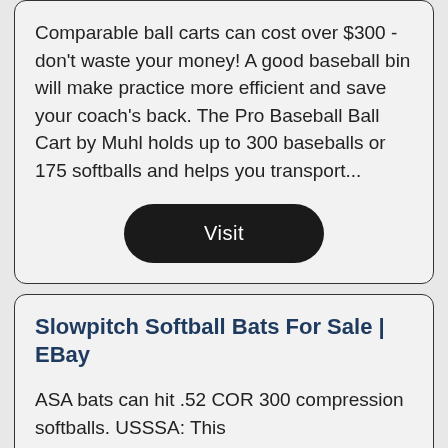Comparable ball carts can cost over $300 - don't waste your money! A good baseball bin will make practice more efficient and save your coach's back. The Pro Baseball Ball Cart by Muhl holds up to 300 baseballs or 175 softballs and helps you transport...
Visit
Slowpitch Softball Bats For Sale | EBay
ASA bats can hit .52 COR 300 compression softballs. USSSA: This